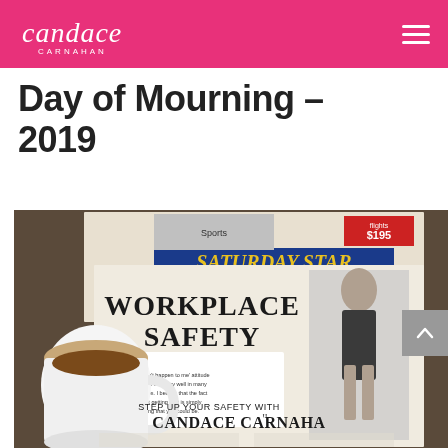candace carnahan
Day of Mourning – 2019
[Figure (photo): A newspaper (Saturday Star) featuring a 'Workplace Safety' article with a quote and headline 'Step Up Your Safety With Candace Carnahan', photographed next to a white coffee mug on a dark wooden table.]